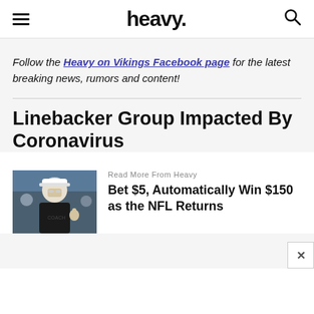heavy.
Follow the Heavy on Vikings Facebook page for the latest breaking news, rumors and content!
Linebacker Group Impacted By Coronavirus
[Figure (photo): Man in coaching attire with cap, giving thumbs up on sideline]
Read More From Heavy
Bet $5, Automatically Win $150 as the NFL Returns